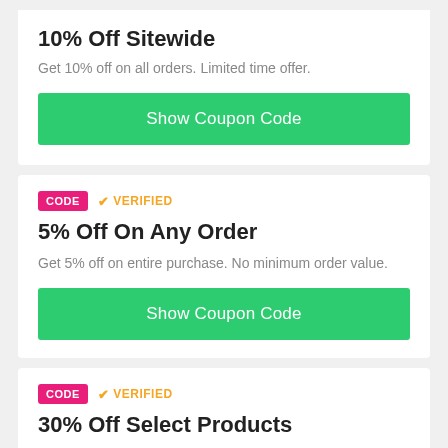10% Off Sitewide
Get 10% off on all orders. Limited time offer.
Show Coupon Code
CODE  ✔ VERIFIED
5% Off On Any Order
Get 5% off on entire purchase. No minimum order value.
Show Coupon Code
CODE  ✔ VERIFIED
30% Off Select Products